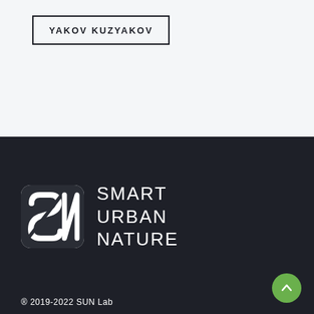YAKOV KUZYAKOV
[Figure (logo): Smart Urban Nature logo — stylized white S and N letterforms in a rounded square on dark background, with text SMART URBAN NATURE beside it]
® 2019-2022 SUN Lab